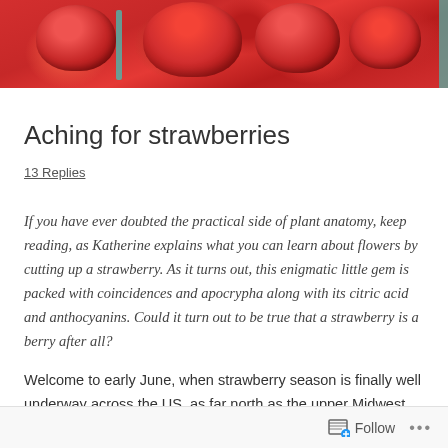[Figure (photo): Close-up photo of fresh red strawberries, filling the top strip of the page]
Aching for strawberries
13 Replies
If you have ever doubted the practical side of plant anatomy, keep reading, as Katherine explains what you can learn about flowers by cutting up a strawberry.  As it turns out, this enigmatic little gem is packed with coincidences and apocrypha along with its citric acid and anthocyanins.  Could it turn out to be true that a strawberry is a berry after all?
Welcome to early June, when strawberry season is finally well underway across the US, as far north as the upper Midwest and New England.  Here in the promised land where little
Follow  •••